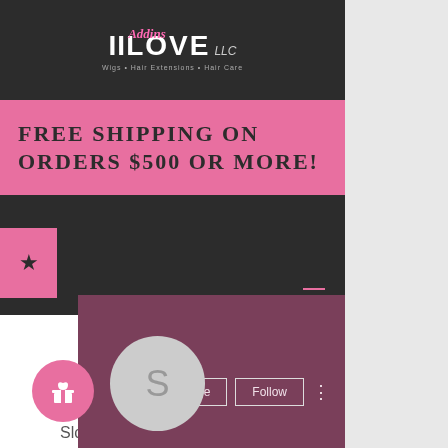[Figure (screenshot): Website screenshot showing IILove Addins LLC hair products website with dark header, pink shipping banner, and a social media profile overlay with Message and Follow buttons, a gray user avatar with letter S, a pink gift icon, and text 'Sloto cash casino no deposit b...']
II LOVE Addins LLC
FREE SHIPPING on Orders $500 or MORE!
Sloto cash casino no deposit b...